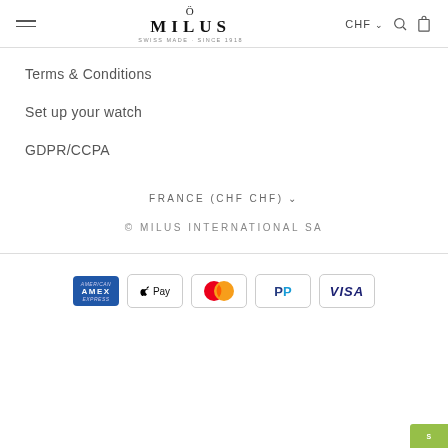MILUS — CHF
Terms & Conditions
Set up your watch
GDPR/CCPA
FRANCE (CHF CHF)
© MILUS INTERNATIONAL SA
[Figure (logo): Payment method icons: American Express, Apple Pay, Mastercard, PayPal, Visa]